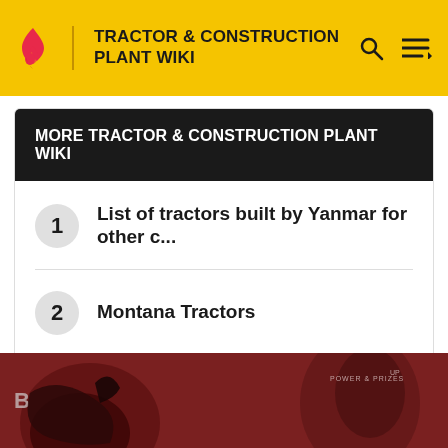TRACTOR & CONSTRUCTION PLANT WIKI
MORE TRACTOR & CONSTRUCTION PLANT WIKI
1 List of tractors built by Yanmar for other c...
2 Montana Tractors
3 List of Kubota tractors
[Figure (photo): Partial view of a dark reddish-brown promotional image showing what appears to be a person and an animal, with text 'POWER & PRIZES' and 'UP' visible in the background.]